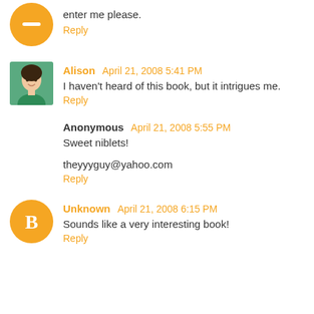[Figure (illustration): Orange circle avatar with minus/dash icon at top]
enter me please.
Reply
[Figure (photo): Photo avatar of a woman with dark hair wearing green]
Alison  April 21, 2008 5:41 PM
I haven't heard of this book, but it intrigues me.
Reply
Anonymous  April 21, 2008 5:55 PM
Sweet niblets!
theyyyguy@yahoo.com
Reply
[Figure (illustration): Orange circle avatar with letter B]
Unknown  April 21, 2008 6:15 PM
Sounds like a very interesting book!
Reply